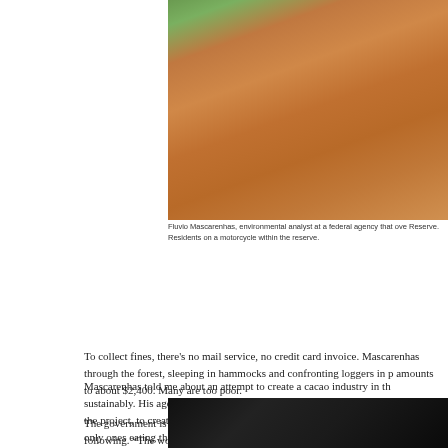[Figure (photo): Aerial/ground view of a dirt road through reddish-brown soil with green vegetation on the side, within the Amazon reserve.]
Fluvio Mascarenhas, environmental analyst at a federal agency that ove Reserve. Residents on a motorcycle within the reserve.
To collect fines, there's no mail service, no credit card invoice. Mascarenhas through the forest, sleeping in hammocks and confronting loggers in p amounts to about $2,400. Many are too poor.
Mascarenhas told me about an attempt to create a cacao industry in th sustainably. His agency spent two years researching how to do it. But th half of the project, to create a market. Those who cultivated the beans h animals are the only ones eating the cacao.” They’re applying for additio
The government is trying to get people to value forest products like Bra following. “The world is telling us we have to conserve,” he said, “but no
A few weeks after I visited, the president of Mascarenhas’ agency resign federal environment minister threatened to investigate employees who conference, in which farmers fought to strip protections from land imp directors at his agency resigned, and the government replaced them wi
[Figure (photo): Dark/nighttime photo at the bottom of the page, partially visible.]